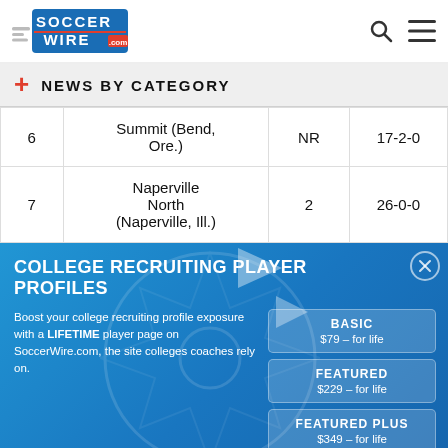SoccerWire.com — Navigation header with logo, search icon, and menu icon
+ NEWS BY CATEGORY
| # | School | Prev Rank | Record |
| --- | --- | --- | --- |
| 6 | Summit (Bend, Ore.) | NR | 17-2-0 |
| 7 | Naperville North (Naperville, Ill.) | 2 | 26-0-0 |
[Figure (infographic): College Recruiting Player Profiles advertisement banner with blue gradient background, soccer ball watermark, BASIC $79 for life, FEATURED $229 for life, FEATURED PLUS $349 for life plans, and ADD A PLAYER NOW button]
Boost your college recruiting profile exposure with a LIFETIME player page on SoccerWire.com, the site colleges coaches rely on.
BASIC
$79 – for life
FEATURED
$229 – for life
FEATURED PLUS
$349 – for life
ADD A PLAYER NOW